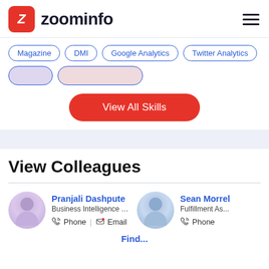[Figure (logo): ZoomInfo logo with red Z icon and wordmark]
Magazine
DMI
Google Analytics
Twitter Analytics
[blurred tag 1]
[blurred tag 2]
View All Skills
View Colleagues
Pranjali Dashpute
Business Intelligence Engineer II
Phone | Email
Sean Morrel
Fulfillment As...
Phone